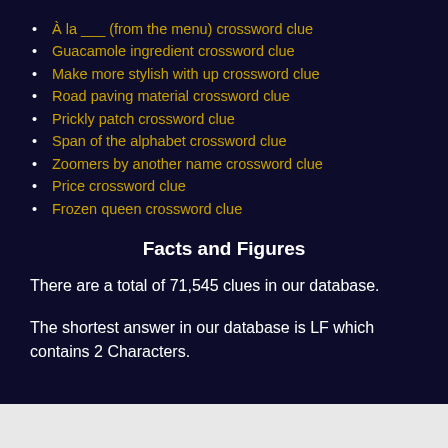À la ___ (from the menu) crossword clue
Guacamole ingredient crossword clue
Make more stylish with up crossword clue
Road paving material crossword clue
Prickly patch crossword clue
Span of the alphabet crossword clue
Zoomers by another name crossword clue
Price crossword clue
Frozen queen crossword clue
Facts and Figures
There are a total of 71,545 clues in our database.
The shortest answer in our database is LF which contains 2 Characters.